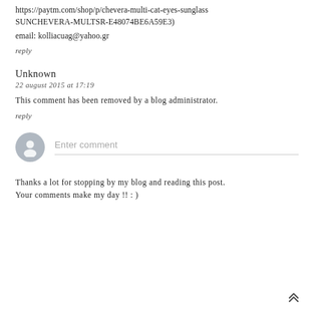https://paytm.com/shop/p/chevera-multi-cat-eyes-sunglass SUNCHEVERA-MULTSR-E48074BE6A59E3)
email: kolliacuag@yahoo.gr
reply
Unknown
22 august 2015 at 17:19
This comment has been removed by a blog administrator.
reply
[Figure (other): Comment input area with gray avatar icon and 'Enter comment' placeholder text with underline]
Thanks a lot for stopping by my blog and reading this post. Your comments make my day !! : )